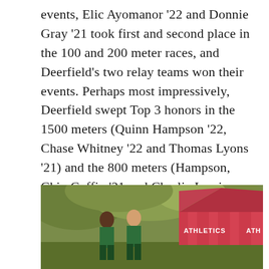events, Elic Ayomanor '22 and Donnie Gray '21 took first and second place in the 100 and 200 meter races, and Deerfield's two relay teams won their events. Perhaps most impressively, Deerfield swept Top 3 honors in the 1500 meters (Quinn Hampson '22, Chase Whitney '22 and Thomas Lyons '21) and the 800 meters (Hampson, Chip Coffin '21 and Charlie Lewis '21). Wins by Coffin in the triple jump, Tyler Simon '22 in the shot put, and Bob Provost '23 in the javelin added to the ledger, compiling a 98-42 win against NMH.
[Figure (photo): Two athletes in green uniforms running/walking on a field with a red and white striped tent in the background that reads ATHLETICS. Green foliage visible behind the tent.]